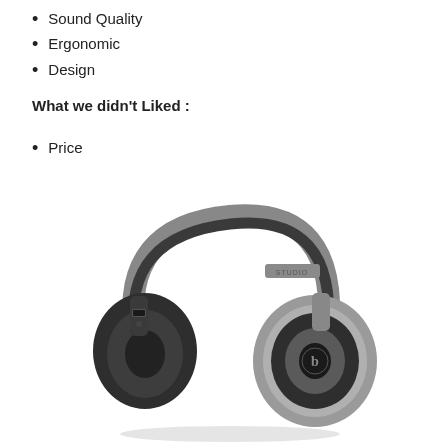Sound Quality
Ergonomic
Design
What we didn't Liked :
Price
[Figure (photo): Beats Studio over-ear headphones in titanium/silver and black colorway, shown at an angle facing left]